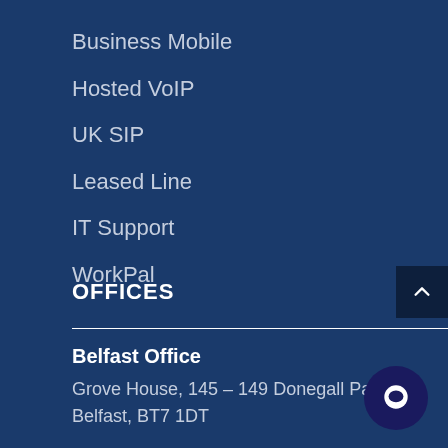Business Mobile
Hosted VoIP
UK SIP
Leased Line
IT Support
WorkPal
OFFICES
Belfast Office
Grove House, 145 – 149 Donegall Pass,
Belfast, BT7 1DT